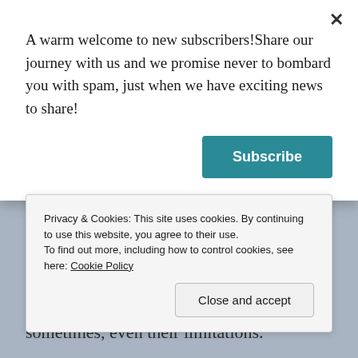A warm welcome to new subscribers!Share our journey with us and we promise never to bombard you with spam, just when we have exciting news to share!
Subscribe
family that share their lives, loves, and sometimes, even their limitations.
We began blogging to help further our writing careers, but somewhere along the way, it has become so much
Privacy & Cookies: This site uses cookies. By continuing to use this website, you agree to their use.
To find out more, including how to control cookies, see here: Cookie Policy
Close and accept